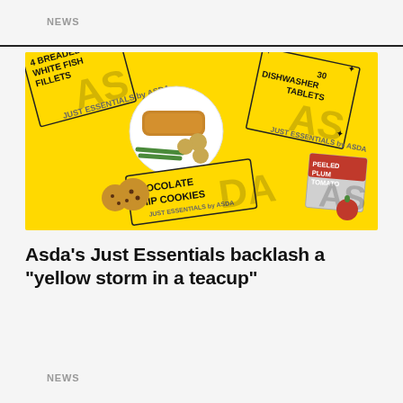NEWS
[Figure (photo): Asda Just Essentials product range on yellow background: 4 Breaded White Fish Fillets box, 30 Dishwasher Tablets box, Chocolate Chip Cookies packet, Peeled Plum Tomatoes can — all in yellow packaging with bold black ASDA lettering.]
Asda’s Just Essentials backlash a “yellow storm in a teacup”
NEWS